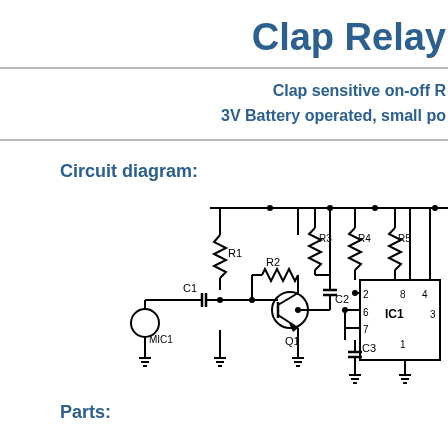Clap Relay
Clap sensitive on-off R
3V Battery operated, small po
Circuit diagram:
[Figure (circuit-diagram): Clap relay circuit diagram showing MIC1 microphone, C1 capacitor, R1 resistor, Q1 transistor, R2 resistor, C2 capacitor, R3 R4 R5 resistors, C3 capacitor, IC1 integrated circuit, with power rails and ground symbols]
Parts: